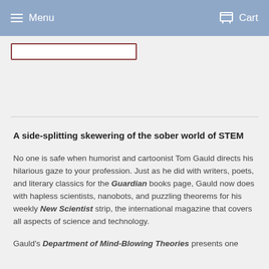Menu   Cart
[Figure (other): Search input box with dark red border, partially visible at top of content area]
A side-splitting skewering of the sober world of STEM
No one is safe when humorist and cartoonist Tom Gauld directs his hilarious gaze to your profession. Just as he did with writers, poets, and literary classics for the Guardian books page, Gauld now does with hapless scientists, nanobots, and puzzling theorems for his weekly New Scientist strip, the international magazine that covers all aspects of science and technology.
Gauld's Department of Mind-Blowing Theories presents one